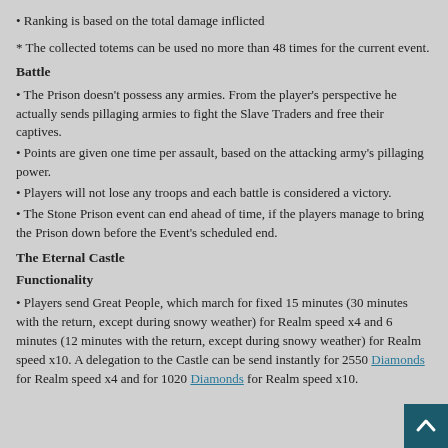• Ranking is based on the total damage inflicted
* The collected totems can be used no more than 48 times for the current event.
Battle
• The Prison doesn't possess any armies. From the player's perspective he actually sends pillaging armies to fight the Slave Traders and free their captives.
• Points are given one time per assault, based on the attacking army's pillaging power.
• Players will not lose any troops and each battle is considered a victory.
• The Stone Prison event can end ahead of time, if the players manage to bring the Prison down before the Event's scheduled end.
The Eternal Castle
Functionality
• Players send Great People, which march for fixed 15 minutes (30 minutes with the return, except during snowy weather) for Realm speed x4 and 6 minutes (12 minutes with the return, except during snowy weather) for Realm speed x10. A delegation to the Castle can be send instantly for 2550 Diamonds for Realm speed x4 and for 1020 Diamonds for Realm speed x10.